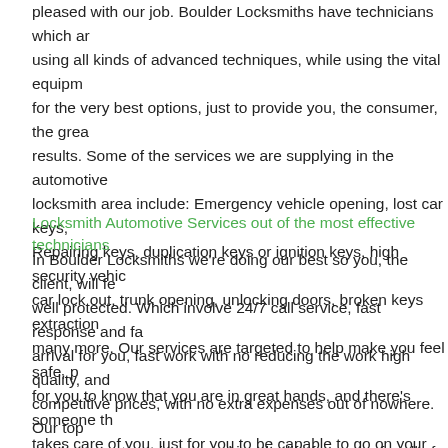pleased with our job. Boulder Locksmiths have technicians which are using all kinds of advanced techniques, while using the vital equipment for the very best options, just to provide you, the consumer, the greatest results. Some of the services we are supplying in the automotive locksmith area include: Emergency vehicle opening, lost car keys, Repairing keys, duplication keys or ignition keys, high security vehicles, car lock out, trunk opening, unlocking doors, broken keys extraction, many more. Our services are targeted to help make you feel safe, positive for you to know that you are in great hands, and there's someone that takes care of you, just for you to be capable to go on your life without the delaying issues.
Locksmith Automotive Services out of the most effective technicians
In Boulder Locksmiths we're doing our best so you, the client, will feel well protected. Which involve 24/7 call service, fast response and fast arrival for you, fast work with no reducing the work high quality, and competitive prices, with no extra expenses out of nowhere. Our top notch support services is making the life far easier for all of our clients. We're able to get to you quickly, and start taking care of any type of issue, with out you feeling like you are wasting the working day or lo